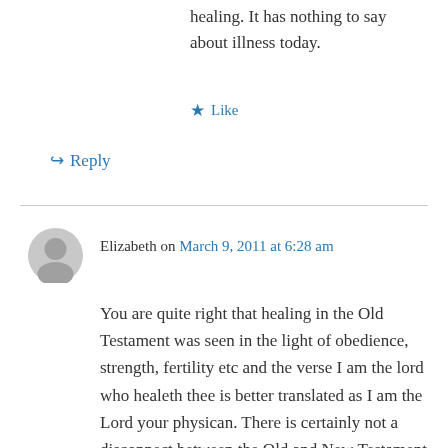healing. It has nothing to say about illness today.
★ Like
↪ Reply
Elizabeth on March 9, 2011 at 6:28 am
You are quite right that healing in the Old Testament was seen in the light of obedience, strength, fertility etc and the verse I am the lord who healeth thee is better translated as I am the Lord your physican. There is certainly not a disconnect between the Old and New Testament.
The Holiness Code of leviticus touches all aspects of life:physical(like eating habits), social, spirtual and moral, it is a code of overall well